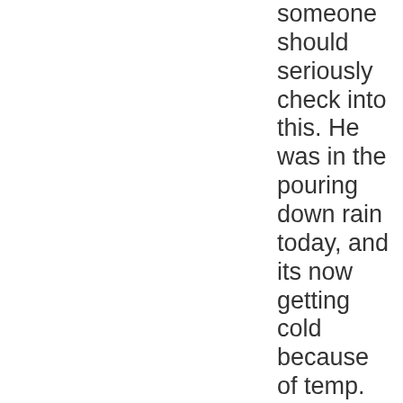someone should seriously check into this. He was in the pouring down rain today, and its now getting cold because of temp. dropping. Please have someone check on him! the address is 918 N Woodburn Ave. he is chained to the back porch. Thanks!